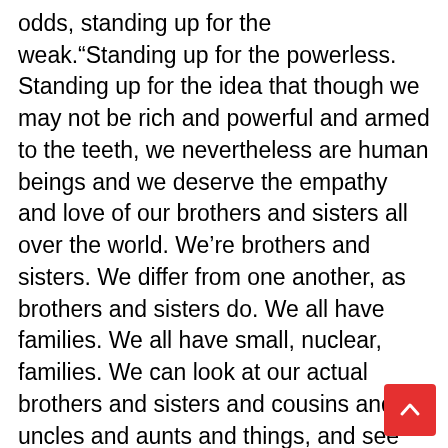odds, standing up for the weak.“Standing up for the powerless. Standing up for the idea that though we may not be rich and powerful and armed to the teeth, we nevertheless are human beings and we deserve the empathy and love of our brothers and sisters all over the world. We’re brothers and sisters. We differ from one another, as brothers and sisters do. We all have families. We all have small, nuclear, families. We can look at our actual brothers and sisters and cousins and uncles and aunts and things, and see the differences, and understand that we’re not all the same. And we’re not all perfect. In fact, none of us is perfect. That’s the whole point. That’s the whole point. We need one another’s help. We need to cooperate. And at the moment, we’re not. At the moment, we